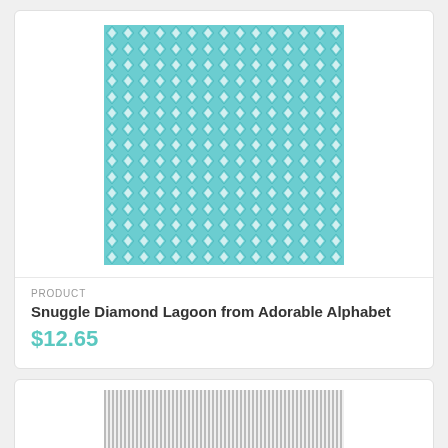[Figure (illustration): Teal/aqua fabric swatch with repeating white diamond/argyle pattern on light blue background]
PRODUCT
Snuggle Diamond Lagoon from Adorable Alphabet
$12.65
[Figure (illustration): Grey and white vertical stripes fabric swatch pattern, partially visible at bottom of page]